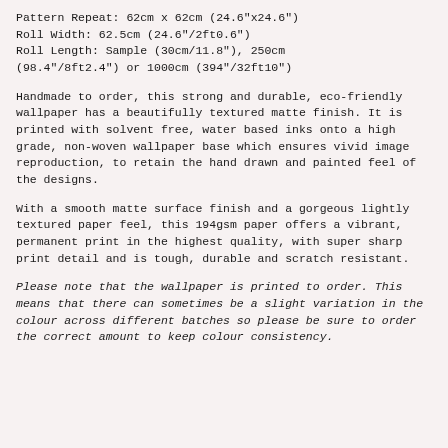Pattern Repeat: 62cm x 62cm (24.6"x24.6") Roll Width: 62.5cm (24.6"/2ft0.6") Roll Length: Sample (30cm/11.8"), 250cm (98.4"/8ft2.4") or 1000cm (394"/32ft10")
Handmade to order, this strong and durable, eco-friendly wallpaper has a beautifully textured matte finish. It is printed with solvent free, water based inks onto a high grade, non-woven wallpaper base which ensures vivid image reproduction, to retain the hand drawn and painted feel of the designs.
With a smooth matte surface finish and a gorgeous lightly textured paper feel, this 194gsm paper offers a vibrant, permanent print in the highest quality, with super sharp print detail and is tough, durable and scratch resistant.
Please note that the wallpaper is printed to order. This means that there can sometimes be a slight variation in the colour across different batches so please be sure to order the correct amount to keep colour consistency.